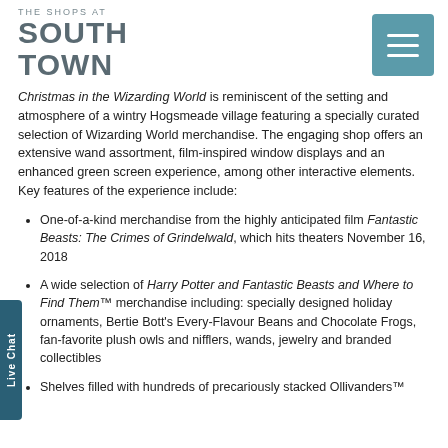THE SHOPS AT SOUTH TOWN
Christmas in the Wizarding World is reminiscent of the setting and atmosphere of a wintry Hogsmeade village featuring a specially curated selection of Wizarding World merchandise. The engaging shop offers an extensive wand assortment, film-inspired window displays and an enhanced green screen experience, among other interactive elements. Key features of the experience include:
One-of-a-kind merchandise from the highly anticipated film Fantastic Beasts: The Crimes of Grindelwald, which hits theaters November 16, 2018
A wide selection of Harry Potter and Fantastic Beasts and Where to Find Them™ merchandise including: specially designed holiday ornaments, Bertie Bott's Every-Flavour Beans and Chocolate Frogs, fan-favorite plush owls and nifflers, wands, jewelry and branded collectibles
Shelves filled with hundreds of precariously stacked Ollivanders™